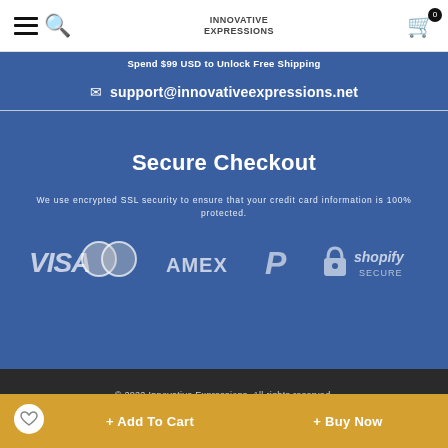Innovative Expressions – Navigation bar with hamburger, search, logo, cart (0)
Spend $99 USD to Unlock Free Shipping
support@innovativeexpressions.net
Secure Checkout
We use encrypted SSL security to ensure that your credit card information is 100% protected.
[Figure (logo): Payment method logos: VISA, Mastercard, AMEX, PayPal, Shopify Secure padlock]
© 2022 Innovative Expressions. All rights reserved.
.. people are viewing this item
+ Add To Cart
+ Buy Now